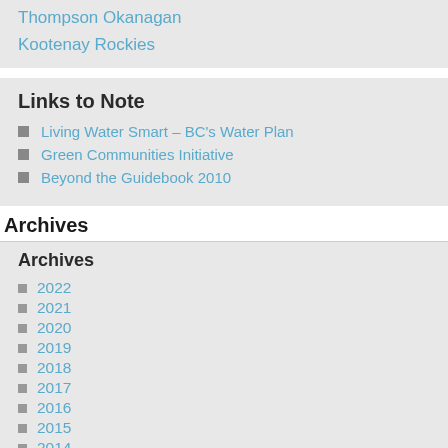Thompson Okanagan
Kootenay Rockies
Links to Note
Living Water Smart – BC's Water Plan
Green Communities Initiative
Beyond the Guidebook 2010
Archives
Archives
2022
2021
2020
2019
2018
2017
2016
2015
2014
2013